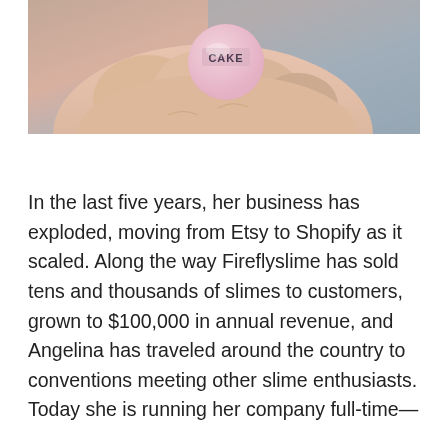[Figure (photo): Close-up photo of a hand holding a small pink round slime product with 'CAKE' text on it, against a grey background.]
In the last five years, her business has exploded, moving from Etsy to Shopify as it scaled. Along the way Fireflyslime has sold tens and thousands of slimes to customers, grown to $100,000 in annual revenue, and Angelina has traveled around the country to conventions meeting other slime enthusiasts. Today she is running her company full-time—